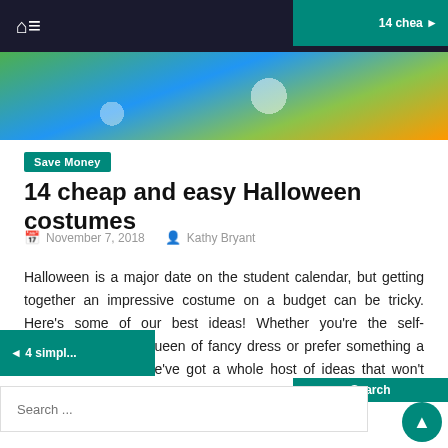Navigation bar with home, menu, and search icons
[Figure (photo): Colorful Halloween costume photo with green, blue and orange shapes]
Save Money
14 cheap and easy Halloween costumes
November 7, 2018   Kathy Bryant
Halloween is a major date on the student calendar, but getting together an impressive costume on a budget can be tricky. Here’s some of our best ideas! Whether you’re the self-proclaimed king or queen of fancy dress or prefer something a little more vanilla, we’ve got a whole host of ideas that won’t break the bank. [...]
4 simpl... | 14 chea... | Search
Search ...